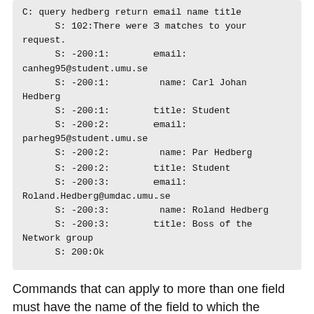C: query hedberg return email name title
      S: 102:There were 3 matches to your request.
      S: -200:1:        email: canheg95@student.umu.se
      S: -200:1:         name: Carl Johan Hedberg
      S: -200:1:        title: Student
      S: -200:2:        email: parheg95@student.umu.se
      S: -200:2:         name: Par Hedberg
      S: -200:2:        title: Student
      S: -200:3:        email: Roland.Hedberg@umdac.umu.se
      S: -200:3:         name: Roland Hedberg
      S: -200:3:        title: Boss of the Network group
      S: 200:Ok
Commands that can apply to more than one field must have the name of the field to which the response applies directly following the entry index.